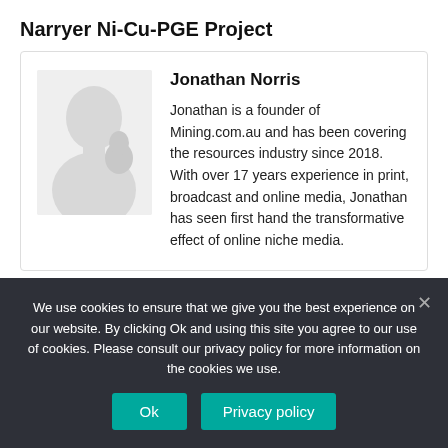Narryer Ni-Cu-PGE Project
[Figure (photo): Author avatar silhouette placeholder image]
Jonathan Norris
Jonathan is a founder of Mining.com.au and has been covering the resources industry since 2018. With over 17 years experience in print, broadcast and online media, Jonathan has seen first hand the transformative effect of online niche media.
We use cookies to ensure that we give you the best experience on our website. By clicking Ok and using this site you agree to our use of cookies. Please consult our privacy policy for more information on the cookies we use.